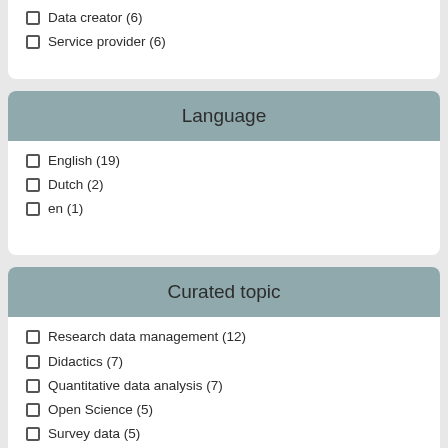Data creator (6)
Service provider (6)
Language
English (19)
Dutch (2)
en (1)
Curated topic
Research data management (12)
Didactics (7)
Quantitative data analysis (7)
Open Science (5)
Survey data (5)
Copyright (4)